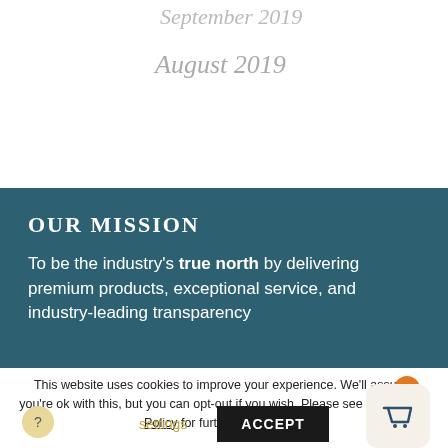September 2019
August 2019
OUR MISSION
To be the industry's true north by delivering premium products, exceptional service, and industry-leading transparency
This website uses cookies to improve your experience. We'll assume you're ok with this, but you can opt-out if you wish. Please see our Privacy Policy for further information.
settings
ACCEPT